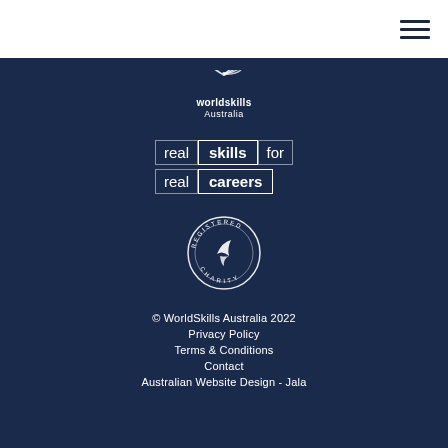[Figure (logo): Hamburger menu icon (three horizontal lines) in top-right corner]
[Figure (logo): WorldSkills Australia logo — feather/wing icon above text 'worldskills Australia' in white on dark navy background]
[Figure (infographic): Tagline graphic: 'real skills for real careers' with 'skills' and 'careers' in white-outlined boxes on dark navy]
[Figure (logo): Registered Charity circular badge/seal in white outline on dark navy background]
© WorldSkills Australia 2022
Privacy Policy
Terms & Conditions
Contact
Australian Website Design - Jala